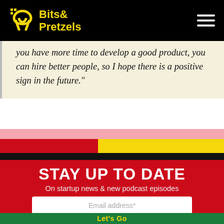[Figure (logo): Bits & Pretzels logo with pretzel icon in yellow on black background, with hamburger menu icon on the right]
you have more time to develop a good product, you can hire better people, so I hope there is a positive sign in the future."
[Figure (illustration): Decorative color stripes: pink, red, yellow, and black horizontal bands]
STAY UP TO DATE
On startup news & new podcast episodes
Email address*
Let's Go